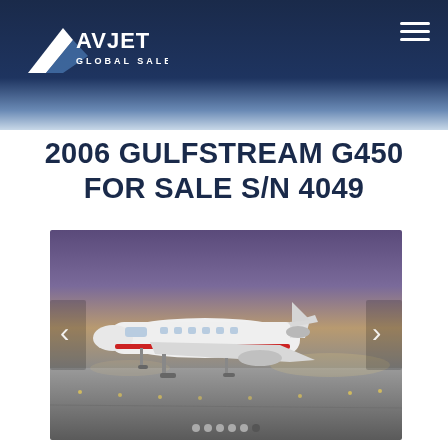AVJET GLOBAL SALES
2006 GULFSTREAM G450 FOR SALE S/N 4049
[Figure (photo): A white Gulfstream G450 private jet with red stripe accents parked on a runway tarmac at dusk/twilight, with airport lights and purple-blue sky in the background. Navigation arrows (< and >) are overlaid on the left and right sides of the image.]